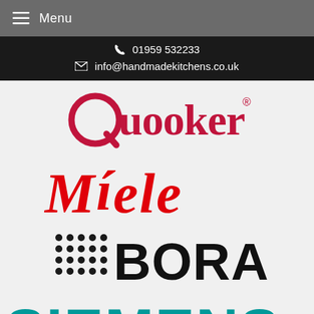≡ Menu
📞 01959 532233
✉ info@handmadekitchens.co.uk
[Figure (logo): Quooker logo in dark red/crimson with circular Q and registered trademark symbol]
[Figure (logo): Miele logo in red bold italic serif font with accent on the i]
[Figure (logo): BORA logo in black bold font with dot-grid pattern on left side]
[Figure (logo): SIEMENS logo in teal/dark cyan bold font, partially cropped at bottom]